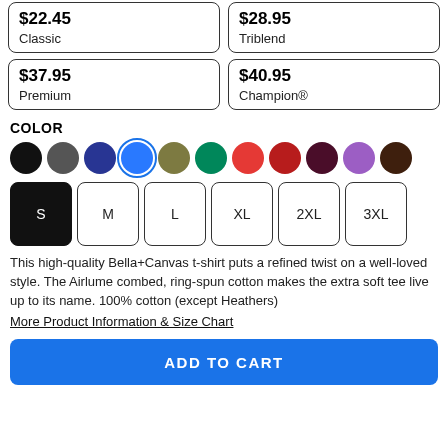$22.45 Classic
$28.95 Triblend
$37.95 Premium
$40.95 Champion®
COLOR
[Figure (other): Color swatches: black, dark gray, navy, blue (selected), olive, green, red, crimson, maroon, purple, brown]
[Figure (other): Size selector buttons: S (selected/active), M, L, XL, 2XL, 3XL]
This high-quality Bella+Canvas t-shirt puts a refined twist on a well-loved style. The Airlume combed, ring-spun cotton makes the extra soft tee live up to its name. 100% cotton (except Heathers)
More Product Information & Size Chart
ADD TO CART